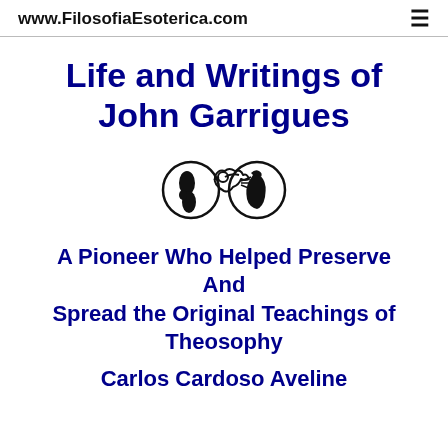www.FilosofiaEsoterica.com
Life and Writings of John Garrigues
[Figure (illustration): Three icons in a row: a globe showing the Americas (circle outline), a flying dove (outline), and a globe showing Africa/Europe (circle outline)]
A Pioneer Who Helped Preserve And Spread the Original Teachings of Theosophy
Carlos Cardoso Aveline